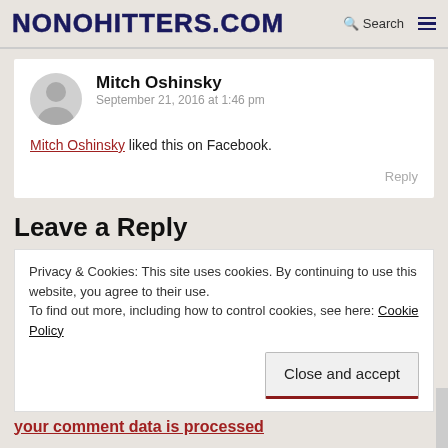NONOHITTERS.COM
Mitch Oshinsky
September 21, 2016 at 1:46 pm
Mitch Oshinsky liked this on Facebook.
Reply
Leave a Reply
Privacy & Cookies: This site uses cookies. By continuing to use this website, you agree to their use.
To find out more, including how to control cookies, see here: Cookie Policy
your comment data is processed